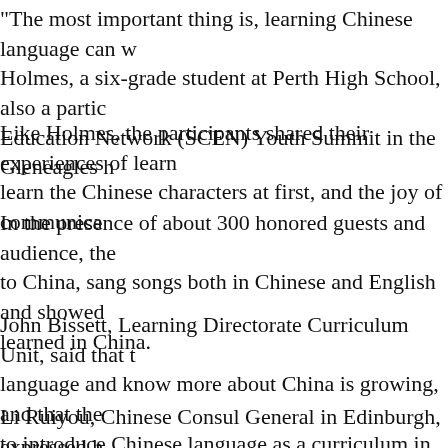"The most important thing is, learning Chinese language can w... Holmes, a six-grade student at Perth High School, also a partici... Education Network (SCEN) Youth Summit in the Gleneagles h...
Like Holmes, the participants shared their experiences of learn... learn the Chinese characters at first, and the joy of communica...
In the presence of about 300 honored guests and audience, the... to China, sang songs both in Chinese and English and showed... learned in China.
John Bissett, Learning Directorate Curriculum Unit, said that t... language and know more about China is growing, and that the... to introduce Chinese language as a curriculum in more and mo...
Li Ruiyou, Chinese Consul General in Edinburgh, expressed h... of young generations, stressing the importance of people-to-pe... mutual understanding.